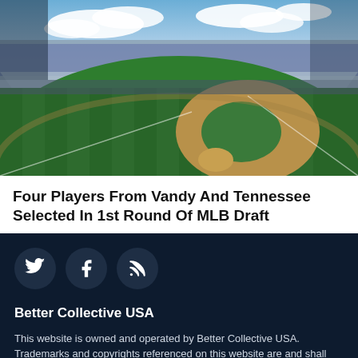[Figure (photo): Aerial view of a baseball stadium packed with fans, showing the green striped outfield, infield dirt, and stadium seating under a partly cloudy sky.]
Four Players From Vandy And Tennessee Selected In 1st Round Of MLB Draft
[Figure (infographic): Footer section with dark navy background containing social media icons (Twitter, Facebook, RSS feed) as circular buttons.]
Better Collective USA
This website is owned and operated by Better Collective USA. Trademarks and copyrights referenced on this website are and shall